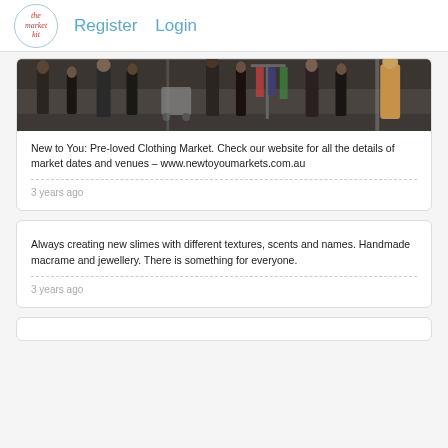The Market Kit – Register | Login
[Figure (photo): Photo of people at a market, indoor venue with people walking and browsing clothing racks]
New to You: Pre-loved Clothing Market. Check our website for all the details of market dates and venues – www.newtoyoumarkets.com.au
3 years ago
Always creating new slimes with different textures, scents and names. Handmade macrame and jewellery. There is something for everyone.
3 years ago